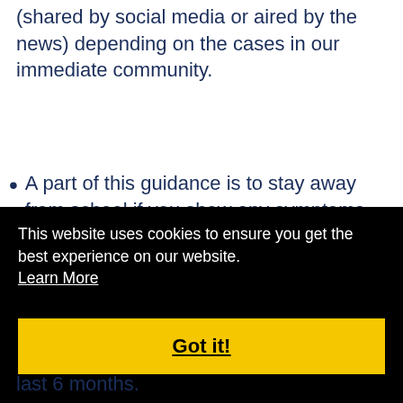(shared by social media or aired by the news) depending on the cases in our immediate community.
A part of this guidance is to stay away from school if you show any symptoms and consult your doctor accordingly. As it is 'flu season', many of our staff, students and parents will have flu symptoms, and we ask everyone to stay away until you are tested if you show any signs.
This website uses cookies to ensure you get the best experience on our website. Learn More
Got it!
last 6 months.